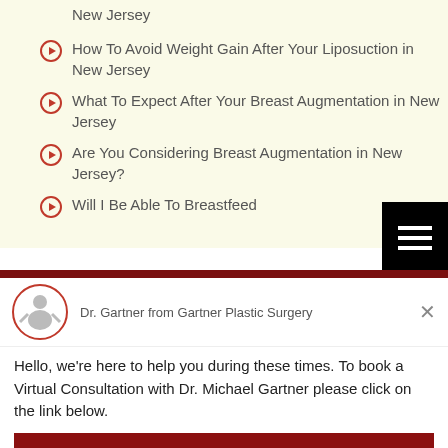New Jersey
How To Avoid Weight Gain After Your Liposuction in New Jersey
What To Expect After Your Breast Augmentation in New Jersey
Are You Considering Breast Augmentation in New Jersey?
Will I Be Able To Breastfeed
Dr. Gartner from Gartner Plastic Surgery
Hello, we're here to help you during these times. To book a Virtual Consultation with Dr. Michael Gartner please click on the link below.
Virtual Consultation
Chat ⚡ by Drift